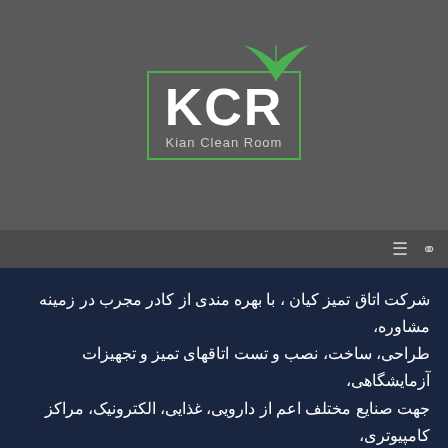[Figure (logo): KCR - Kian Clean Room logo with green leaf above a bordered box containing bold white KCR text and 'Kian Clean Room' subtitle, on a gray background]
شرکت اتاق تمیز کیان ، با بهره مندی از کادر مجرب در زمینه مشاوره، طراحی، ساخت، نصب و تست اتاقهای تمیز و تجهیزات آزمایشگاهی، جهت صنایع مختلف اعم از دارویی، غذایی، الکترونیک، مراکز کامپیوتری، صنایع خودرو سازی، اتاق های عمل بیمارستان ها فعالیت می نماید.
گالری
پست های اخیر